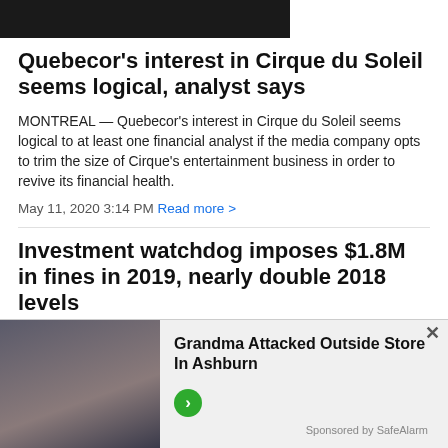[Figure (photo): Partial top image strip, dark/black image thumbnail]
Quebecor's interest in Cirque du Soleil seems logical, analyst says
MONTREAL — Quebecor's interest in Cirque du Soleil seems logical to at least one financial analyst if the media company opts to trim the size of Cirque's entertainment business in order to revive its financial health.
May 11, 2020 3:14 PM Read more >
Investment watchdog imposes $1.8M in fines in 2019, nearly double 2018 levels
TORONTO — A total of $1.8 million in sanctions was levied against Canadian investment firms by a regulation...
[Figure (photo): Advertisement banner: woman with dark hair and glasses on left; text reads 'Grandma Attacked Outside Store In Ashburn' with green arrow button. Sponsored by SafeAlarm.]